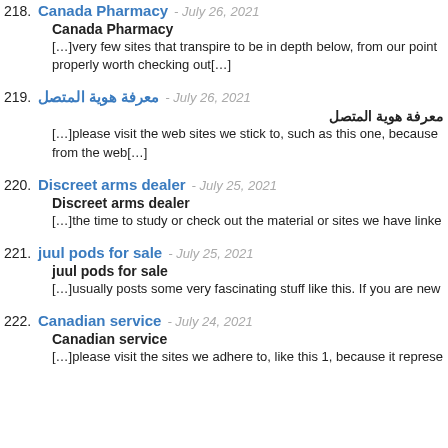218. Canada Pharmacy - July 26, 2021
Canada Pharmacy
[...]very few sites that transpire to be in depth below, from our point properly worth checking out[...]
219. معرفة هوية المتصل - July 26, 2021
معرفة هوية المتصل
[...]please visit the web sites we stick to, such as this one, because from the web[...]
220. Discreet arms dealer - July 25, 2021
Discreet arms dealer
[...]the time to study or check out the material or sites we have linke
221. juul pods for sale - July 25, 2021
juul pods for sale
[...]usually posts some very fascinating stuff like this. If you are new
222. Canadian service - July 24, 2021
Canadian service
[...]please visit the sites we adhere to, like this 1, because it represe